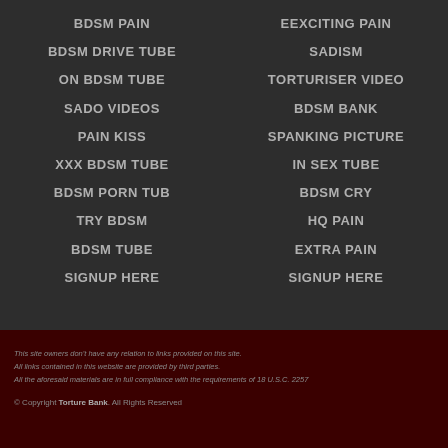BDSM PAIN
BDSM DRIVE TUBE
ON BDSM TUBE
SADO VIDEOS
PAIN KISS
XXX BDSM TUBE
BDSM PORN TUB
TRY BDSM
BDSM TUBE
SIGNUP HERE
EEXCITING PAIN
SADISM
TORTURISER VIDEO
BDSM BANK
SPANKING PICTURE
IN SEX TUBE
BDSM CRY
HQ PAIN
EXTRA PAIN
SIGNUP HERE
This site owners don't have any relation to links provided on this site.
All links contained in this website are provided by third parties.
All the aforesaid materials are in full compliance with the requirements of 18 U.S.C. 2257
© Copyright Torture Bank. All Rights Reserved